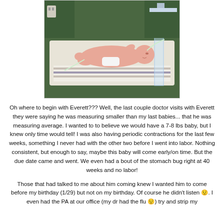[Figure (photo): Photo of a newborn baby lying on a hospital bassinet/warmer tray with medical tubes, in a NICU or hospital room setting.]
Oh where to begin with Everett??? Well, the last couple doctor visits with Everett they were saying he was measuring smaller than my last babies... that he was measuring average. I wanted to to believe we would have a 7-8 lbs baby, but I knew only time would tell! I was also having periodic contractions for the last few weeks, something I never had with the other two before I went into labor. Nothing consistent, but enough to say, maybe this baby will come early/on time. But the due date came and went. We even had a bout of the stomach bug right at 40 weeks and no labor!
Those that had talked to me about him coming knew I wanted him to come before my birthday (1/29) but not on my birthday. Of course he didn't listen 😣. I even had the PA at our office (my dr had the flu 😣) try and strip my